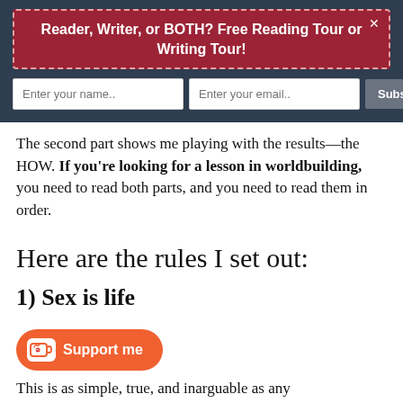Reader, Writer, or BOTH? Free Reading Tour or Writing Tour!
The second part shows me playing with the results—the HOW. If you're looking for a lesson in worldbuilding, you need to read both parts, and you need to read them in order.
Here are the rules I set out:
1) Sex is life
[Figure (illustration): Ko-fi style Support me button with coffee cup icon in orange/red color]
This is as simple, true, and inarguable as any